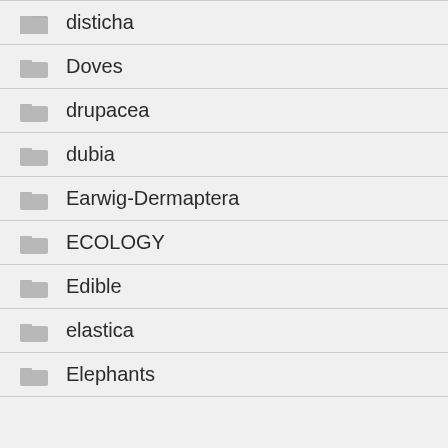disticha
Doves
drupacea
dubia
Earwig-Dermaptera
ECOLOGY
Edible
elastica
Elephants